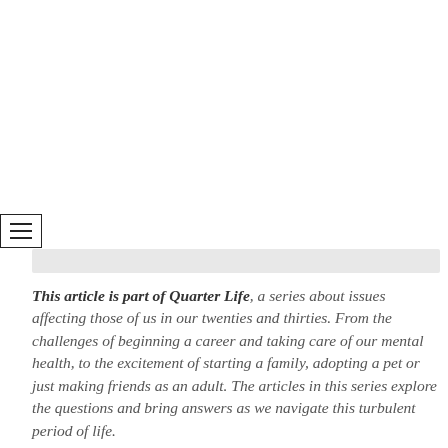[Figure (other): Hamburger menu icon button with three horizontal lines inside a bordered rectangle]
[Figure (other): Light gray horizontal bar, possibly an image placeholder or separator]
This article is part of Quarter Life, a series about issues affecting those of us in our twenties and thirties. From the challenges of beginning a career and taking care of our mental health, to the excitement of starting a family, adopting a pet or just making friends as an adult. The articles in this series explore the questions and bring answers as we navigate this turbulent period of life.